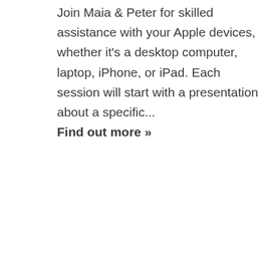Join Maia & Peter for skilled assistance with your Apple devices, whether it's a desktop computer, laptop, iPhone, or iPad. Each session will start with a presentation about a specific...
Find out more »
[Figure (photo): Group photo of people standing together at an event, red/warm toned background]
Friday Tech Help Desk (Virtual)
September 16 @ 11:00 am - 1:00 pm